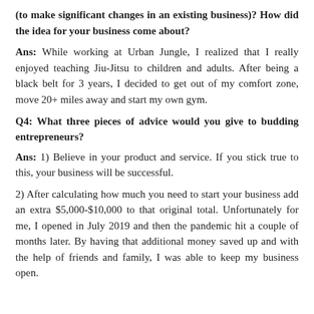(to make significant changes in an existing business)? How did the idea for your business come about?
Ans: While working at Urban Jungle, I realized that I really enjoyed teaching Jiu-Jitsu to children and adults. After being a black belt for 3 years, I decided to get out of my comfort zone, move 20+ miles away and start my own gym.
Q4: What three pieces of advice would you give to budding entrepreneurs?
Ans: 1) Believe in your product and service. If you stick true to this, your business will be successful.
2) After calculating how much you need to start your business add an extra $5,000-$10,000 to that original total. Unfortunately for me, I opened in July 2019 and then the pandemic hit a couple of months later. By having that additional money saved up and with the help of friends and family, I was able to keep my business open.